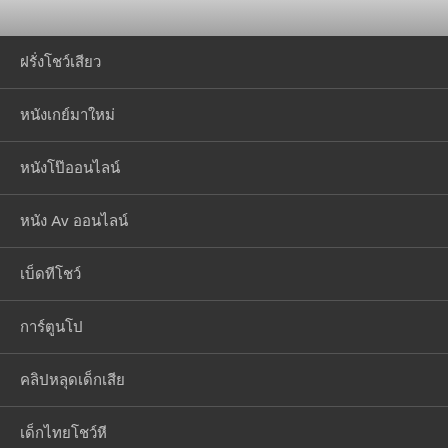ฝรั่งโชว์เสียว
หนังเกย์มาใหม่
หนังโป๊ออนไลน์
หนัง Av ออนไลน์
เบ็ดทีโชว์
การ์ตูนโป
คลิปหลุดเด็กเสีย
เด็กไทยโชว์หี
แอบถ่ายห้องน้ำ
แอบถ่ายใต้กระโปรง